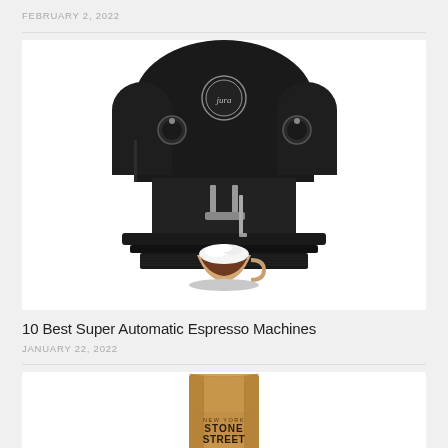FEBRUARY 2, 2022
[Figure (photo): Black Jura super automatic espresso machine with a cappuccino cup in front, white frothy milk foam on top]
10 Best Super Automatic Espresso Machines
JANUARY 22, 2022
[Figure (photo): Stone Street coffee bag, kraft paper brown bag with Stone Street branding visible at bottom]